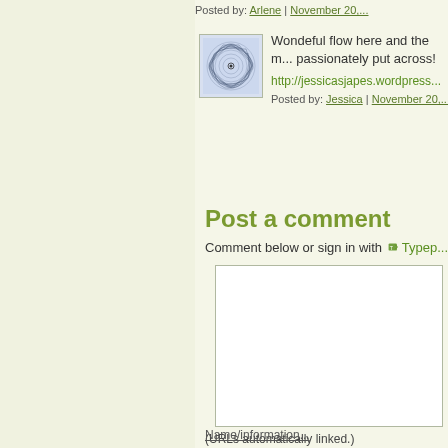Posted by: Arlene | November 20,...
[Figure (illustration): Avatar icon: circular spirograph pattern on light blue background]
Wondeful flow here and the m... passionately put across!
http://jessicasjapes.wordpress...
Posted by: Jessica | November 20,...
Post a comment
Comment below or sign in with  Typep...
(URLs automatically linked.)
Name/information...